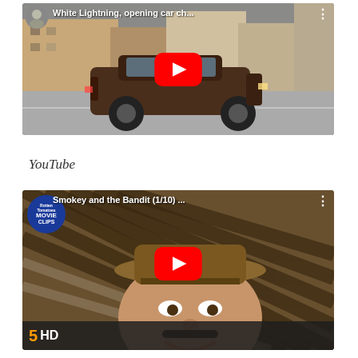[Figure (screenshot): YouTube video thumbnail showing a brown classic car driving on a street, with YouTube play button overlay. Title reads 'White Lightning, opening car ch...']
YouTube
[Figure (screenshot): YouTube video thumbnail showing a man in a cowboy hat (from Smokey and the Bandit) smiling, with Rotten Tomatoes Movie Clips badge, YouTube play button, and HD bar at bottom. Title reads 'Smokey and the Bandit (1/10) ...']